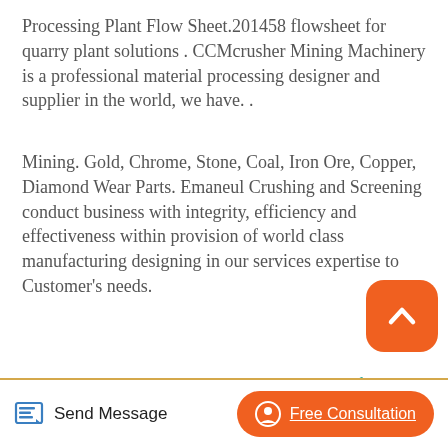Processing Plant Flow Sheet.201458 flowsheet for quarry plant solutions . CCMcrusher Mining Machinery is a professional material processing designer and supplier in the world, we have. .
Mining. Gold, Chrome, Stone, Coal, Iron Ore, Copper, Diamond Wear Parts. Emaneul Crushing and Screening conduct business with integrity, efficiency and effectiveness within provision of world class manufacturing designing in our services expertise to Customer's needs.
Read More →
[Figure (photo): Industrial mining equipment - crushing/screening machine components shown in gray, viewed from an angle]
Send Message
Free Consultation